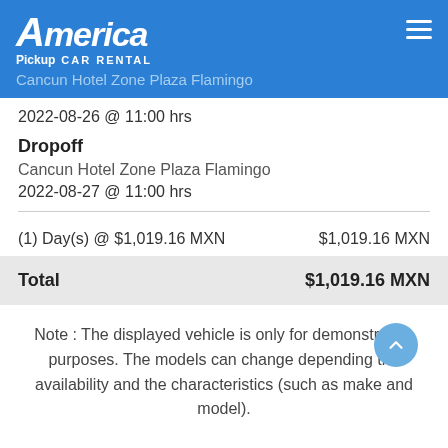America CAR RENTAL
Pickup
Cancun Hotel Zone Plaza Flamingo
2022-08-26 @ 11:00 hrs
Dropoff
Cancun Hotel Zone Plaza Flamingo
2022-08-27 @ 11:00 hrs
| Description | Amount |
| --- | --- |
| (1) Day(s) @ $1,019.16 MXN | $1,019.16 MXN |
| Total | $1,019.16 MXN |
Note : The displayed vehicle is only for demonstration purposes. The models can change depending the availability and the characteristics (such as make and model).